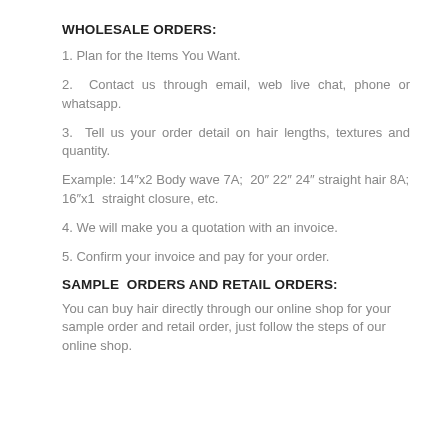WHOLESALE ORDERS:
1. Plan for the Items You Want.
2. Contact us through email, web live chat, phone or whatsapp.
3. Tell us your order detail on hair lengths, textures and quantity.
Example: 14"x2 Body wave 7A;  20" 22" 24" straight hair 8A; 16"x1  straight closure, etc.
4. We will make you a quotation with an invoice.
5. Confirm your invoice and pay for your order.
SAMPLE  ORDERS AND RETAIL ORDERS:
You can buy hair directly through our online shop for your sample order and retail order, just follow the steps of our online shop.